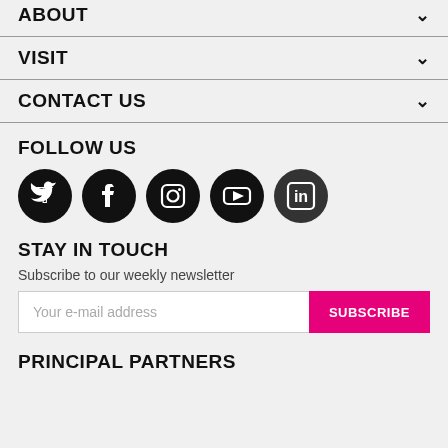ABOUT
VISIT
CONTACT US
FOLLOW US
[Figure (infographic): Social media icons: Twitter, Facebook, Instagram, YouTube, LinkedIn — all circular black icons]
STAY IN TOUCH
Subscribe to our weekly newsletter
Your e-mail address
SUBSCRIBE
PRINCIPAL PARTNERS